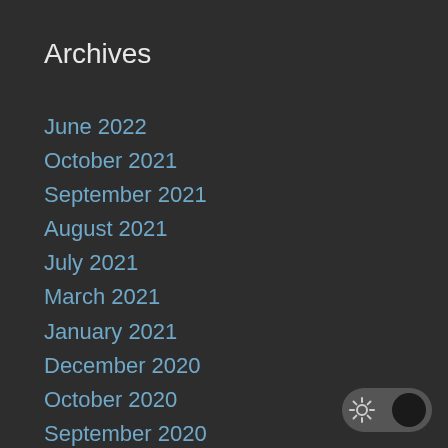Archives
June 2022
October 2021
September 2021
August 2021
July 2021
March 2021
January 2021
December 2020
October 2020
September 2020
August 2020
June 2020